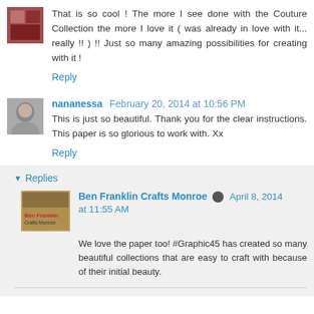That is so cool ! The more I see done with the Couture Collection the more I love it ( was already in love with it... really !! ) !! Just so many amazing possibilities for creating with it !
Reply
nananessa  February 20, 2014 at 10:56 PM
This is just so beautiful. Thank you for the clear instructions. This paper is so glorious to work with. Xx
Reply
Replies
Ben Franklin Crafts Monroe  April 8, 2014 at 11:55 AM
We love the paper too! #Graphic45 has created so many beautiful collections that are easy to craft with because of their initial beauty.